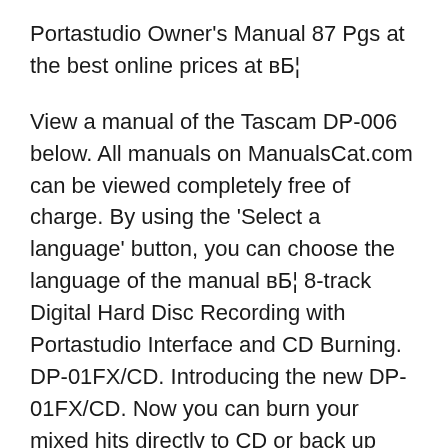Portastudio Owner's Manual 87 Pgs at the best online prices at вБ¦
View a manual of the Tascam DP-006 below. All manuals on ManualsCat.com can be viewed completely free of charge. By using the 'Select a language' button, you can choose the language of the manual вБ¦ 8-track Digital Hard Disc Recording with Portastudio Interface and CD Burning. DP-01FX/CD. Introducing the new DP-01FX/CD. Now you can burn your mixed hits directly to CD or back up your work in progress at any time without having to transfer it to computer first.
01/04/2013В В· Starting to setup a song with the tascam dp01. Cozy Jazz - Relaxing Cafe Music -